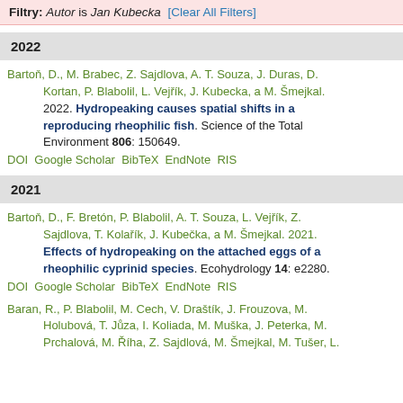Filtry: Autor is Jan Kubecka [Clear All Filters]
2022
Bartoň, D., M. Brabec, Z. Sajdlova, A. T. Souza, J. Duras, D. Kortan, P. Blabolil, L. Vejřík, J. Kubecka, a M. Šmejkal. 2022. Hydropeaking causes spatial shifts in a reproducing rheophilic fish. Science of the Total Environment 806: 150649.
DOI Google Scholar BibTeX EndNote RIS
2021
Bartoň, D., F. Bretón, P. Blabolil, A. T. Souza, L. Vejřík, Z. Sajdlova, T. Kolařík, J. Kubečka, a M. Šmejkal. 2021. Effects of hydropeaking on the attached eggs of a rheophilic cyprinid species. Ecohydrology 14: e2280.
DOI Google Scholar BibTeX EndNote RIS
Baran, R., P. Blabolil, M. Cech, V. Draštík, J. Frouzova, M. Holubová, T. Jůza, I. Koliada, M. Muška, J. Peterka, M. Prchalová, M. Říha, Z. Sajdlová, M. Šmejkal, M. Tušer, L. …